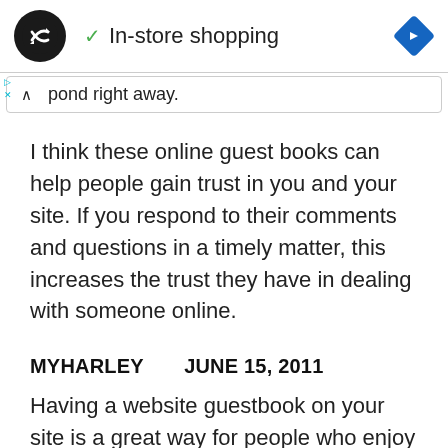[Figure (logo): Black circular logo with two overlapping arrow/loop icons in white, followed by a green checkmark and 'In-store shopping' text, and a blue diamond navigation icon on the right]
pond right away.
I think these online guest books can help people gain trust in you and your site. If you respond to their comments and questions in a timely matter, this increases the trust they have in dealing with someone online.
MYHARLEY     JUNE 15, 2011
Having a website guestbook on your site is a great way for people who enjoy your site to